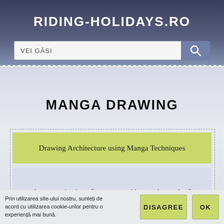RIDING-HOLIDAYS.RO
MANGA DRAWING
Drawing Architecture using Manga Techniques
ual communication of manga provides another realm for representing architectural drawings or photogra- phy,
Prin utilizarea site-ului nostru, sunteți de acord cu utilizarea cookie-urilor pentru o experiență mai bună.